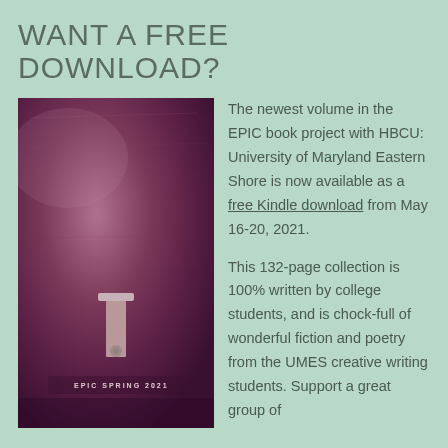WANT A FREE DOWNLOAD?
[Figure (photo): A purple-tinted photograph of a leather journal or book with a clasp, labeled 'EPIC SPRING 2021' at the bottom.]
The newest volume in the EPIC book project with HBCU: University of Maryland Eastern Shore is now available as a free Kindle download from May 16-20, 2021.

This 132-page collection is 100% written by college students, and is chock-full of wonderful fiction and poetry from the UMES creative writing students. Support a great group of